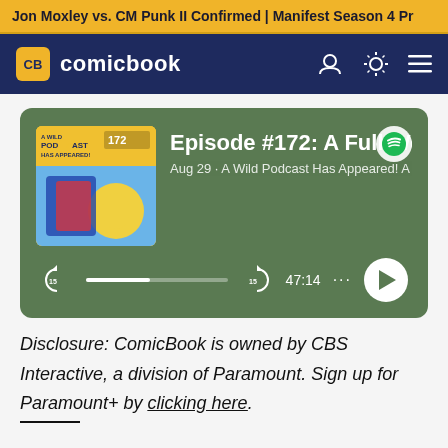Jon Moxley vs. CM Punk II Confirmed | Manifest Season 4 Pr
[Figure (screenshot): ComicBook.com navigation bar with CB logo, site name, user icon, theme toggle, and hamburger menu on dark blue background]
[Figure (screenshot): Spotify embedded podcast player showing Episode #172: A Full Worlds, Aug 29, A Wild Podcast Has Appeared! A C, with album art, progress bar at roughly 45%, duration 47:14, and play button]
Disclosure: ComicBook is owned by CBS Interactive, a division of Paramount. Sign up for Paramount+ by clicking here.